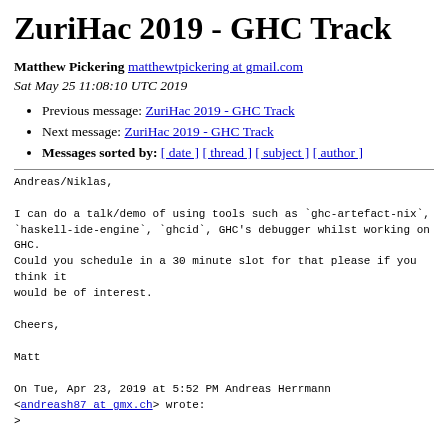ZuriHac 2019 - GHC Track
Matthew Pickering matthewtpickering at gmail.com
Sat May 25 11:08:10 UTC 2019
Previous message: ZuriHac 2019 - GHC Track
Next message: ZuriHac 2019 - GHC Track
Messages sorted by: [ date ] [ thread ] [ subject ] [ author ]
Andreas/Niklas,

I can do a talk/demo of using tools such as `ghc-artefact-nix`,
`haskell-ide-engine`, `ghcid`, GHC's debugger whilst working on GHC.
Could you schedule in a 30 minute slot for that please if you think it
would be of interest.

Cheers,

Matt

On Tue, Apr 23, 2019 at 5:52 PM Andreas Herrmann
<andreash87 at gmx.ch> wrote:
>